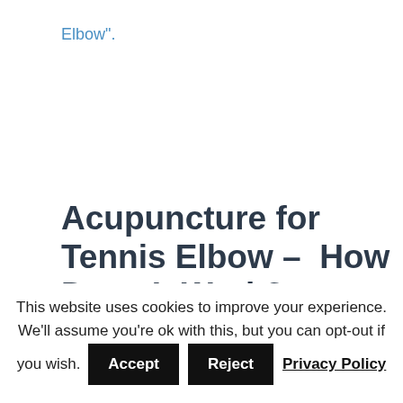Elbow".
Acupuncture for Tennis Elbow – How Does It Work?
Acupuncture involves the careful placement of specialized needles around
This website uses cookies to improve your experience. We'll assume you're ok with this, but you can opt-out if you wish.